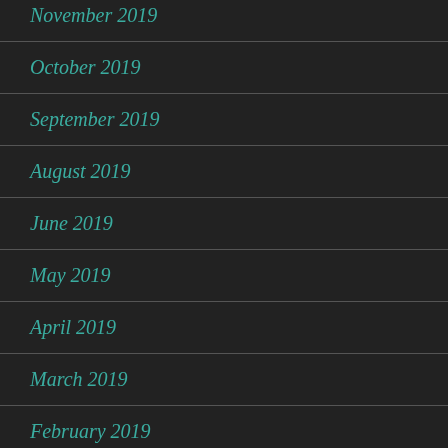November 2019
October 2019
September 2019
August 2019
June 2019
May 2019
April 2019
March 2019
February 2019